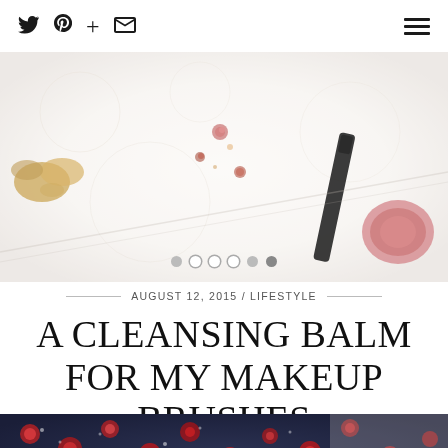Twitter Pinterest + Email | Menu
[Figure (photo): Top-down lifestyle flatlay photo showing makeup items, dried flowers, and golden accessories on white fabric background with soft focus]
AUGUST 12, 2015 / LIFESTYLE
A CLEANSING BALM FOR MY MAKEUP BRUSHES
[Figure (photo): Partial view of dark floral fabric with red and blue flower pattern against a light background]